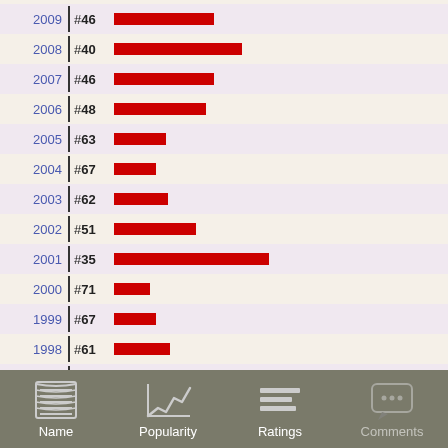[Figure (bar-chart): Yearly Rankings]
Name  Popularity  Ratings  Comments